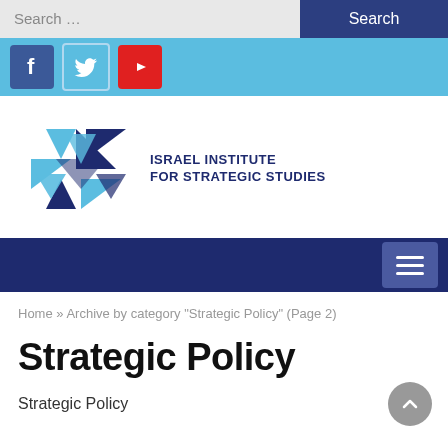Search ...  Search
[Figure (screenshot): Social media icons bar: Facebook (blue), Twitter (light blue), YouTube (red) on light blue background]
[Figure (logo): Israel Institute for Strategic Studies logo — Star of David made of geometric blue/navy shapes with text ISRAEL INSTITUTE FOR STRATEGIC STUDIES]
[Figure (screenshot): Dark navy navigation bar with hamburger menu icon on the right]
Home » Archive by category "Strategic Policy" (Page 2)
Strategic Policy
Strategic Policy